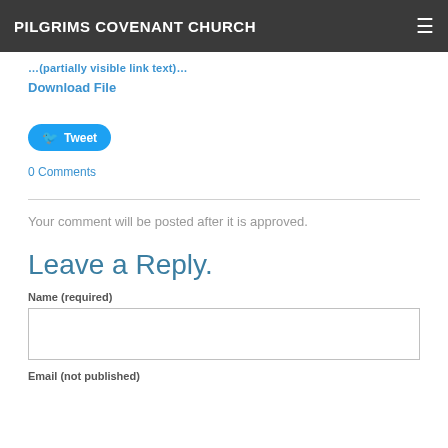PILGRIMS COVENANT CHURCH
... (partially visible cut-off text link)
Download File
[Figure (other): Twitter Tweet button]
0 Comments
Your comment will be posted after it is approved.
Leave a Reply.
Name (required)
Email (not published)